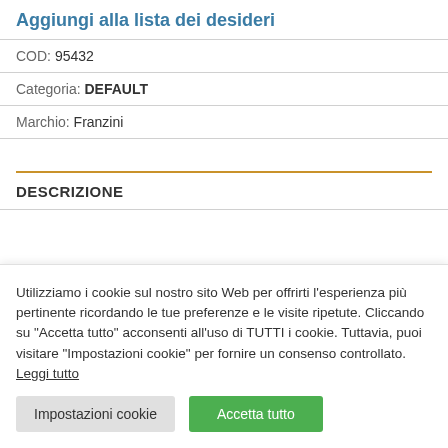Aggiungi alla lista dei desideri
COD: 95432
Categoria: DEFAULT
Marchio: Franzini
DESCRIZIONE
Utilizziamo i cookie sul nostro sito Web per offrirti l'esperienza più pertinente ricordando le tue preferenze e le visite ripetute. Cliccando su "Accetta tutto" acconsenti all'uso di TUTTI i cookie. Tuttavia, puoi visitare "Impostazioni cookie" per fornire un consenso controllato. Leggi tutto
Impostazioni cookie | Accetta tutto